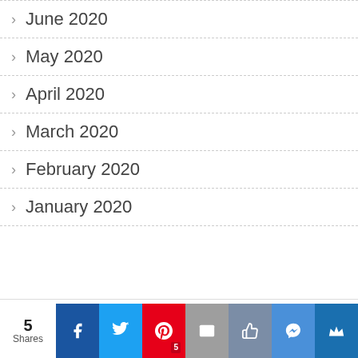June 2020
May 2020
April 2020
March 2020
February 2020
January 2020
This website uses cookies to improve your experience.
We'll assume you're ok with this, but you can opt-out if
5 Shares | Facebook | Twitter | Pinterest 5 | Mail | Like | Messenger | Crown